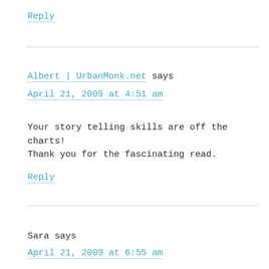Reply
Albert | UrbanMonk.net says
April 21, 2009 at 4:51 am
Your story telling skills are off the charts! Thank you for the fascinating read.
Reply
Sara says
April 21, 2009 at 6:55 am